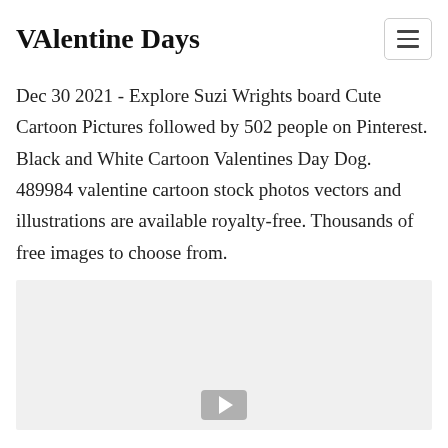VAlentine Days
Dec 30 2021 - Explore Suzi Wrights board Cute Cartoon Pictures followed by 502 people on Pinterest. Black and White Cartoon Valentines Day Dog. 489984 valentine cartoon stock photos vectors and illustrations are available royalty-free. Thousands of free images to choose from.
[Figure (photo): Gray placeholder image area with a play button icon at the bottom center]